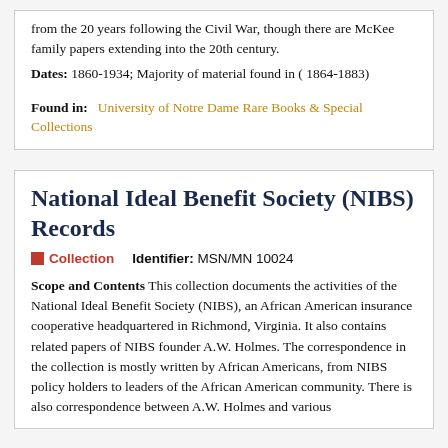from the 20 years following the Civil War, though there are McKee family papers extending into the 20th century.
Dates: 1860-1934; Majority of material found in ( 1864-1883)
Found in:  University of Notre Dame Rare Books & Special Collections
National Ideal Benefit Society (NIBS) Records
Collection    Identifier: MSN/MN 10024
Scope and Contents This collection documents the activities of the National Ideal Benefit Society (NIBS), an African American insurance cooperative headquartered in Richmond, Virginia. It also contains related papers of NIBS founder A.W. Holmes. The correspondence in the collection is mostly written by African Americans, from NIBS policy holders to leaders of the African American community. There is also correspondence between A.W. Holmes and various